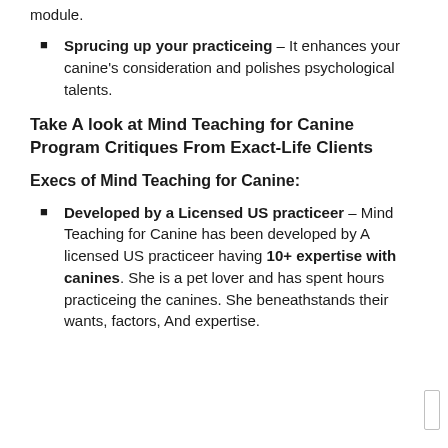module.
Sprucing up your practiceing – It enhances your canine's consideration and polishes psychological talents.
Take A look at Mind Teaching for Canine Program Critiques From Exact-Life Clients
Execs of Mind Teaching for Canine:
Developed by a Licensed US practiceer – Mind Teaching for Canine has been developed by A licensed US practiceer having 10+ expertise with canines. She is a pet lover and has spent hours practiceing the canines. She beneathstands their wants, factors, And expertise.